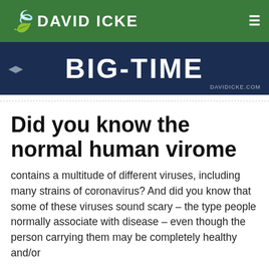DAVID ICKE
[Figure (screenshot): Dark navy blue banner image with large white bold text reading 'BIG-TIME' and 'DAVIDICKE.COM' in lower right corner]
Did you know the normal human virome
contains a multitude of different viruses, including many strains of coronavirus? And did you know that some of these viruses sound scary – the type people normally associate with disease – even though the person carrying them may be completely healthy and/or